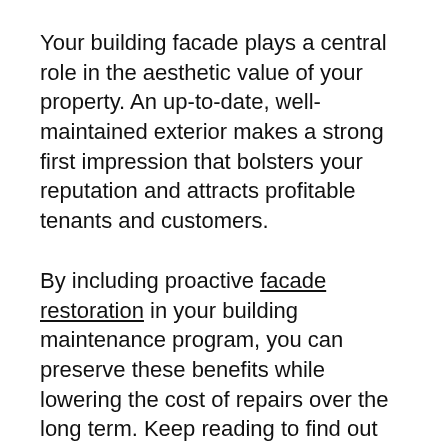Your building facade plays a central role in the aesthetic value of your property. An up-to-date, well-maintained exterior makes a strong first impression that bolsters your reputation and attracts profitable tenants and customers.
By including proactive facade restoration in your building maintenance program, you can preserve these benefits while lowering the cost of repairs over the long term. Keep reading to find out more about our four top reasons why you should consider facade restoration and